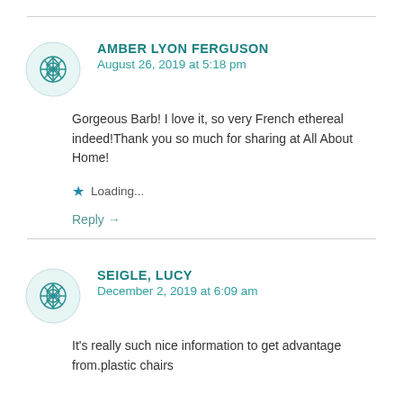AMBER LYON FERGUSON
August 26, 2019 at 5:18 pm
Gorgeous Barb! I love it, so very French ethereal indeed!Thank you so much for sharing at All About Home!
Loading...
Reply →
SEIGLE, LUCY
December 2, 2019 at 6:09 am
It's really such nice information to get advantage from.plastic chairs